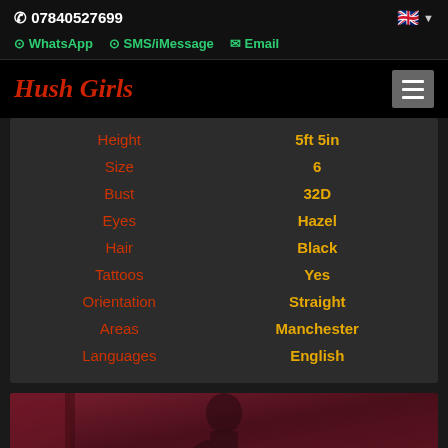07840527699
WhatsApp  SMS/iMessage  Email
Hush Girls
| Attribute | Value |
| --- | --- |
| Height | 5ft 5in |
| Size | 6 |
| Bust | 32D |
| Eyes | Hazel |
| Hair | Black |
| Tattoos | Yes |
| Orientation | Straight |
| Areas | Manchester |
| Languages | English |
[Figure (photo): Partial photo of a person against a dark red/crimson background]